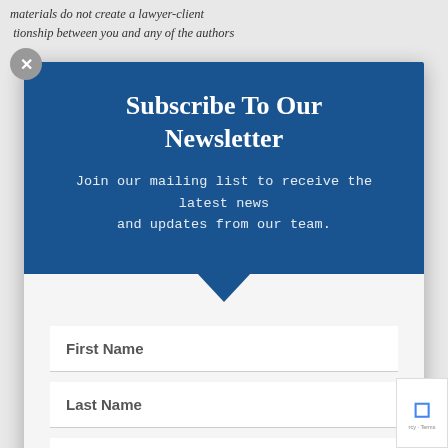materials do not create a lawyer-client relationship between you and any of the authors
Subscribe To Our Newsletter
Join our mailing list to receive the latest news and updates from our team.
First Name
Last Name
Email
SUBSCRIBE!